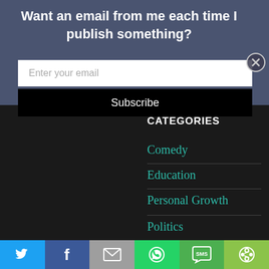Want an email from me each time I publish something?
Enter your email
Subscribe
CATEGORIES
Comedy
Education
Personal Growth
Politics